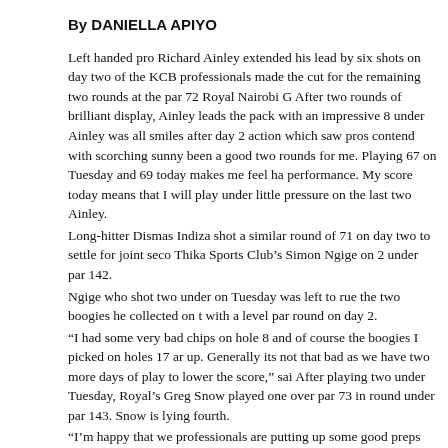By DANIELLA APIYO
Left handed pro Richard Ainley extended his lead by six shots on day two of the KCB professionals made the cut for the remaining two rounds at the par 72 Royal Nairobi G After two rounds of brilliant display, Ainley leads the pack with an impressive 8 under Ainley was all smiles after day 2 action which saw pros contend with scorching sunny been a good two rounds for me. Playing 67 on Tuesday and 69 today makes me feel ha performance. My score today means that I will play under little pressure on the last two Ainley.
Long-hitter Dismas Indiza shot a similar round of 71 on day two to settle for joint seco Thika Sports Club’s Simon Ngige on 2 under par 142.
Ngige who shot two under on Tuesday was left to rue the two boogies he collected on with a level par round on day 2.
“I had some very bad chips on hole 8 and of course the boogies I picked on holes 17 ar up. Generally its not that bad as we have two more days of play to lower the score,” sai After playing two under Tuesday, Royal’s Greg Snow played one over par 73 in round under par 143. Snow is lying fourth.
“I’m happy that we professionals are putting up some good preps ahead of the Kenya O number of tournaments we are playing will help us do well,” said Snow.
Ainley started off on a modest note with eight pars and 1 burdie on the first nine for a t indeed in the second nine that Ainley showed what stuff he is made of.
The Nakuru man sunk in a total of 4 birdies on holes 11, 14, 15 and 17 top return a sco second 9. It could have gone even lower for Ainley had he not dropped a shot in hole 1 Boniface Simwa who was lying second on Day 1 with 4 under got a rude shock with ar round of 5 over par 77 for a total of 143.
Play resumes at 8am on Thursday.
The first groups at the first and 10th tee begins at 8am.
The KCB Golf Tour 2015 heads to Thika sports club on Aprill 14-17, May 14-16 take